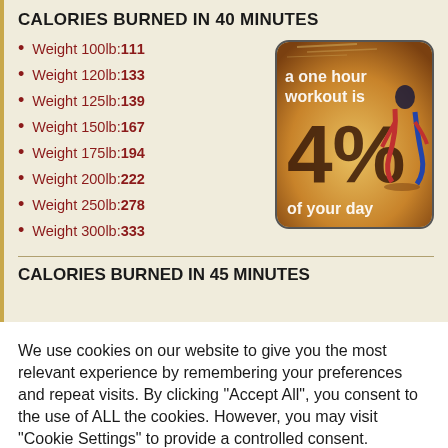CALORIES BURNED IN 40 MINUTES
Weight 100lb:111
Weight 120lb:133
Weight 125lb:139
Weight 150lb:167
Weight 175lb:194
Weight 200lb:222
Weight 250lb:278
Weight 300lb:333
[Figure (illustration): Motivational fitness image showing a runner with text 'a one hour workout is 4% of your day']
CALORIES BURNED IN 45 MINUTES
We use cookies on our website to give you the most relevant experience by remembering your preferences and repeat visits. By clicking "Accept All", you consent to the use of ALL the cookies. However, you may visit "Cookie Settings" to provide a controlled consent.
Cookie Settings | Accept All